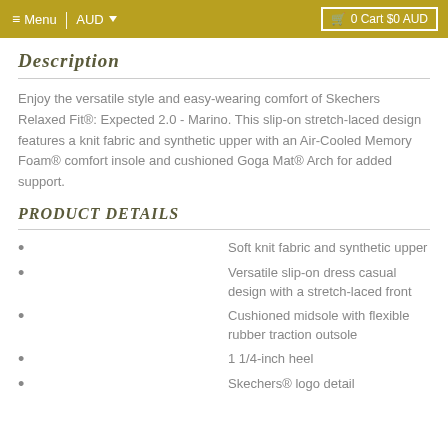≡ Menu  |  AUD ▾    🛒 0 Cart $0 AUD
Description
Enjoy the versatile style and easy-wearing comfort of Skechers Relaxed Fit®: Expected 2.0 - Marino. This slip-on stretch-laced design features a knit fabric and synthetic upper with an Air-Cooled Memory Foam® comfort insole and cushioned Goga Mat® Arch for added support.
PRODUCT DETAILS
Soft knit fabric and synthetic upper
Versatile slip-on dress casual design with a stretch-laced front
Cushioned midsole with flexible rubber traction outsole
1 1/4-inch heel
Skechers® logo detail